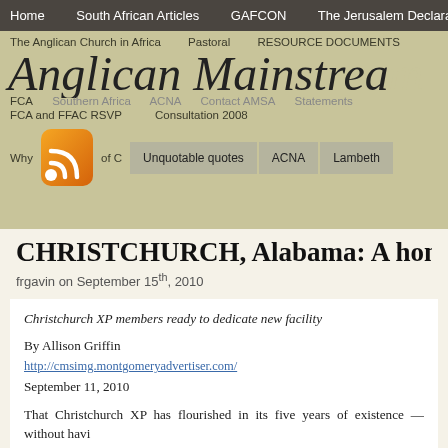Home  South African Articles  GAFCON  The Jerusalem Declaration
[Figure (screenshot): Anglican Mainstream website banner with navigation links, site title in large italic serif font, RSS icon, and navigation tabs including Unquotable quotes, ACNA, Lambeth]
CHRISTCHURCH, Alabama: A home of th
frgavin on September 15th, 2010
Christchurch XP members ready to dedicate new facility
By Allison Griffin
http://cmsimg.montgomeryadvertiser.com/
September 11, 2010
That Christchurch XP has flourished in its five years of existence — without having a church of its own — is both a blessing and a testament to the faith of its members.
Now, the Anglican parish is ready to officially dedicate its new church home a